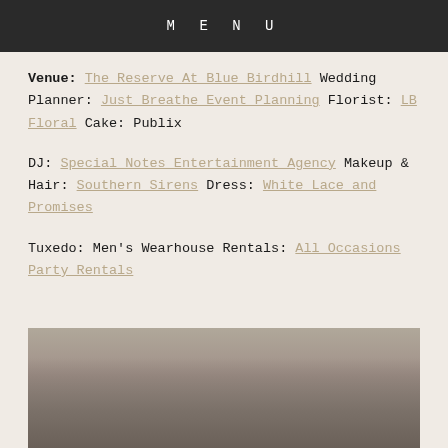MENU
Venue: The Reserve At Blue Birdhill Wedding Planner: Just Breathe Event Planning Florist: LB Floral Cake: Publix
DJ: Special Notes Entertainment Agency Makeup & Hair: Southern Sirens Dress: White Lace and Promises
Tuxedo: Men's Wearhouse Rentals: All Occasions Party Rentals
[Figure (photo): Black and white photo of people, likely wedding party members, visible from shoulders up]